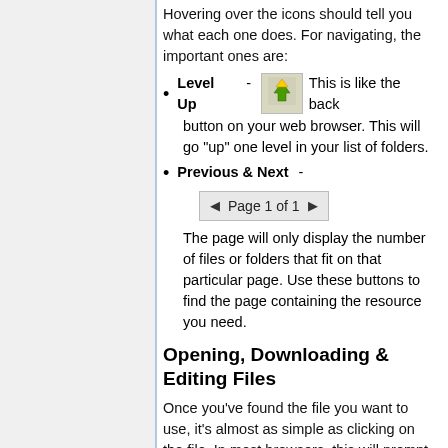Hovering over the icons should tell you what each one does. For navigating, the important ones are:
Level Up - This is like the back button on your web browser. This will go "up" one level in your list of folders.
Previous & Next - The page will only display the number of files or folders that fit on that particular page. Use these buttons to find the page containing the resource you need.
Opening, Downloading & Editing Files
Once you've found the file you want to use, it's almost as simple as clicking on the file. In most browsers, this will prompt you to open or save the